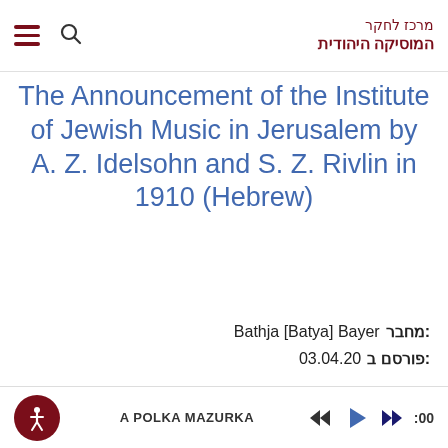מרכז לחקר המוסיקה היהודית
The Announcement of the Institute of Jewish Music in Jerusalem by A. Z. Idelsohn and S. Z. Rivlin in 1910 (Hebrew)
מחבר: Bathja [Batya] Bayer
פורסם ב: 03.04.20
PDF version
A POLKA MAZURKA  0:00